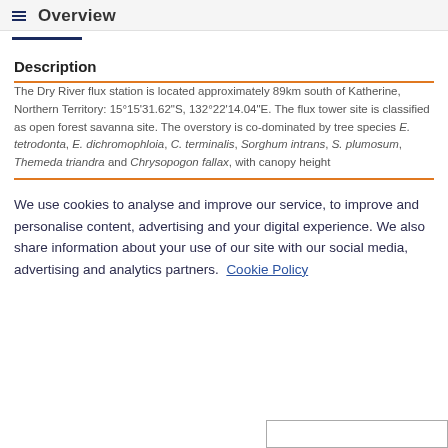Overview
Description
The Dry River flux station is located approximately 89km south of Katherine, Northern Territory: 15°15'31.62"S, 132°22'14.04"E. The flux tower site is classified as open forest savanna site. The overstory is co-dominated by tree species E. tetrodonta, E. dichromophloia, C. terminalis, Sorghum intrans, S. plumosum, Themeda triandra and Chrysopogon fallax, with canopy height
We use cookies to analyse and improve our service, to improve and personalise content, advertising and your digital experience. We also share information about your use of our site with our social media, advertising and analytics partners.  Cookie Policy